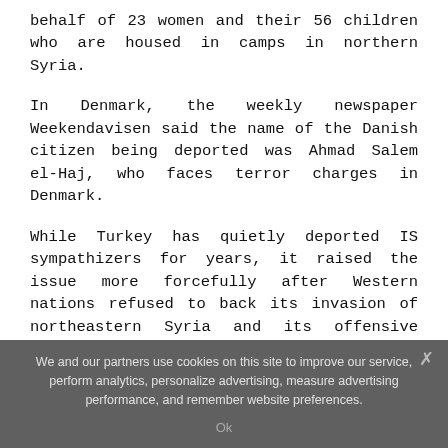behalf of 23 women and their 56 children who are housed in camps in northern Syria.
In Denmark, the weekly newspaper Weekendavisen said the name of the Danish citizen being deported was Ahmad Salem el-Haj, who faces terror charges in Denmark.
While Turkey has quietly deported IS sympathizers for years, it raised the issue more forcefully after Western nations refused to back its invasion of northeastern Syria and its offensive against Syrian Kurdish fighters, whom Ankara considers terrorists linked to Kurdish insurgents fighting inside Turkey. Many countries have voiced concerns that the Turkish incursion would lead to a resurgence of IS.
We and our partners use cookies on this site to improve our service, perform analytics, personalize advertising, measure advertising performance, and remember website preferences.
Ok